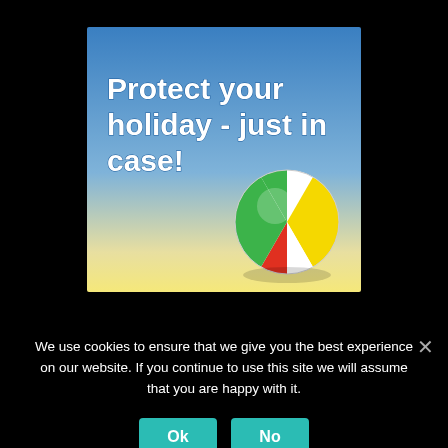[Figure (illustration): Holiday insurance advertisement banner with blue-to-yellow gradient sky background, bold white text 'Protect your holiday - just in case!' on the left, and a colorful beach ball (green, white, yellow, red segments) on the lower right.]
We use cookies to ensure that we give you the best experience on our website. If you continue to use this site we will assume that you are happy with it.
Ok
No